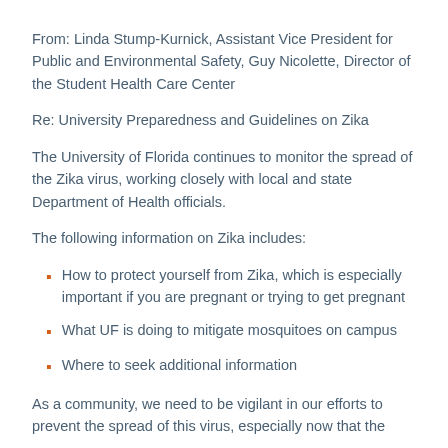From: Linda Stump-Kurnick, Assistant Vice President for Public and Environmental Safety, Guy Nicolette, Director of the Student Health Care Center
Re: University Preparedness and Guidelines on Zika
The University of Florida continues to monitor the spread of the Zika virus, working closely with local and state Department of Health officials.
The following information on Zika includes:
How to protect yourself from Zika, which is especially important if you are pregnant or trying to get pregnant
What UF is doing to mitigate mosquitoes on campus
Where to seek additional information
As a community, we need to be vigilant in our efforts to prevent the spread of this virus, especially now that the